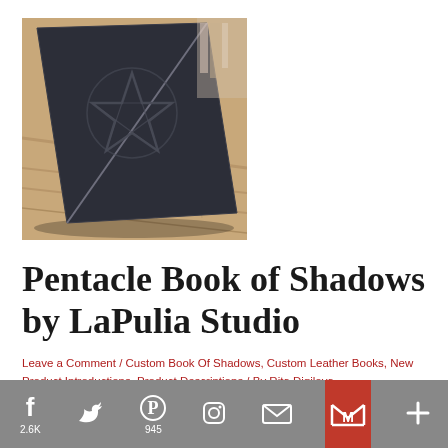[Figure (photo): A dark navy/black hardcover book lying on a wooden surface, with an embossed pentacle (five-pointed star) on the cover and a thin strap/ribbon closure. Background includes a blurred bookshelf.]
Pentacle Book of Shadows by LaPulia Studio
Leave a Comment / Custom Book Of Shadows, Custom Leather Books, New Product Introductions, Product Descriptions / By Rita Digilova
Pentacle Book of Shadows by LaPulia Studio – one of our first le... [text continues] ...leather Books (May 2005). Available in ... 8"×10" ...and ...